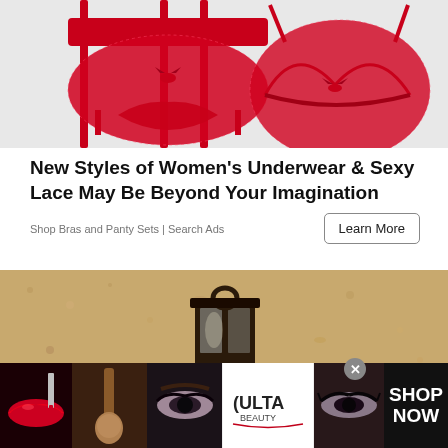[Figure (photo): Red lace lingerie set — garter belt with thong on the left and red lace bra on the right, displayed on a light grey background]
New Styles of Women's Underwear & Sexy Lace May Be Beyond Your Imagination
Shop Bras and Panty Sets | Search Ads
[Figure (photo): Close-up of an ornate black iron wall lantern mounted on a sandy-textured stucco wall]
[Figure (photo): Bottom banner advertisement for Ulta Beauty showing close-up makeup and beauty images with ULTA logo and SHOP NOW call to action]